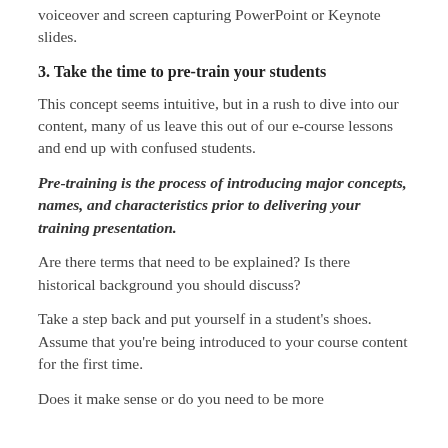voiceover and screen capturing PowerPoint or Keynote slides.
3. Take the time to pre-train your students
This concept seems intuitive, but in a rush to dive into our content, many of us leave this out of our e-course lessons and end up with confused students.
Pre-training is the process of introducing major concepts, names, and characteristics prior to delivering your training presentation.
Are there terms that need to be explained? Is there historical background you should discuss?
Take a step back and put yourself in a student's shoes. Assume that you're being introduced to your course content for the first time.
Does it make sense or do you need to be more